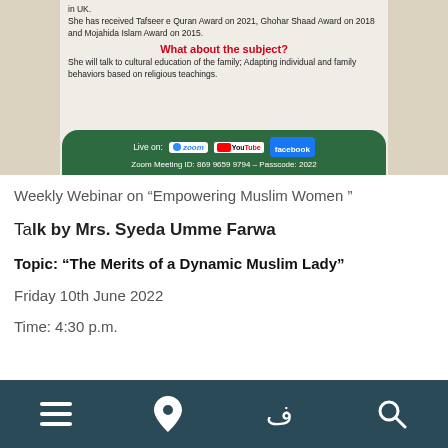[Figure (screenshot): Banner with decorative floral background showing event info, 'What about the subject?' heading in red, description text, and a dark green rounded bar showing Live on: Zoom, YouTube, Facebook logos and Zoom Meeting ID: 869 9659 9794 - Passcode: 2022]
Weekly Webinar on “Empowering Muslim Women ”
Talk by Mrs. Syeda Umme Farwa
Topic: “The Merits of a Dynamic Muslim Lady”
Friday 10th June 2022
Time: 4:30 p.m.
[Figure (screenshot): Dark teal navigation bar with four icons: hamburger menu, location pin, Urdu/Arabic letter Fa, and search magnifying glass]